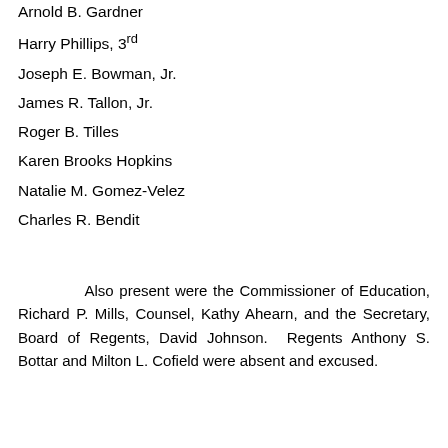Arnold B. Gardner
Harry Phillips, 3rd
Joseph E. Bowman, Jr.
James R. Tallon, Jr.
Roger B. Tilles
Karen Brooks Hopkins
Natalie M. Gomez-Velez
Charles R. Bendit
Also present were the Commissioner of Education, Richard P. Mills, Counsel, Kathy Ahearn, and the Secretary, Board of Regents, David Johnson. Regents Anthony S. Bottar and Milton L. Cofield were absent and excused.